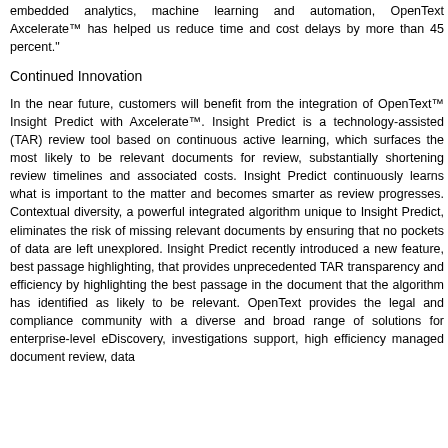embedded analytics, machine learning and automation, OpenText Axcelerate™ has helped us reduce time and cost delays by more than 45 percent."
Continued Innovation
In the near future, customers will benefit from the integration of OpenText™ Insight Predict with Axcelerate™. Insight Predict is a technology-assisted (TAR) review tool based on continuous active learning, which surfaces the most likely to be relevant documents for review, substantially shortening review timelines and associated costs. Insight Predict continuously learns what is important to the matter and becomes smarter as review progresses. Contextual diversity, a powerful integrated algorithm unique to Insight Predict, eliminates the risk of missing relevant documents by ensuring that no pockets of data are left unexplored. Insight Predict recently introduced a new feature, best passage highlighting, that provides unprecedented TAR transparency and efficiency by highlighting the best passage in the document that the algorithm has identified as likely to be relevant. OpenText provides the legal and compliance community with a diverse and broad range of solutions for enterprise-level eDiscovery, investigations support, high efficiency managed document review, data